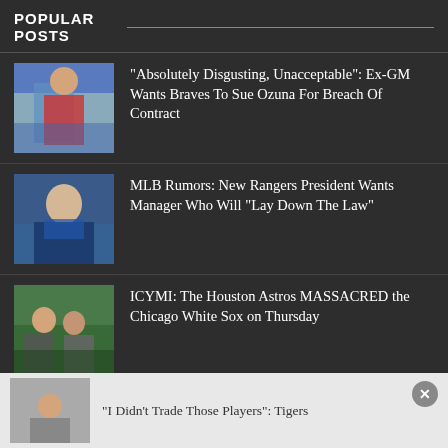POPULAR POSTS
"Absolutely Disgusting, Unacceptable": Ex-GM Wants Braves To Sue Ozuna For Breach Of Contract
MLB Rumors: New Rangers President Wants Manager Who Will "Lay Down The Law"
ICYMI: The Houston Astros MASSACRED the Chicago White Sox on Thursday
"To Me They Don't Even Exist": Joe Maddon Rips Former Team
"I Didn't Trade Those Players": Tigers